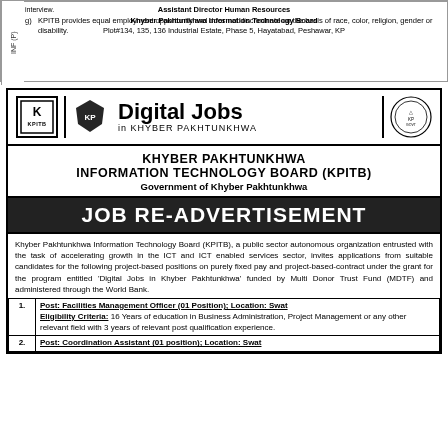INF (P)
interview.
g) KPITB provides equal employment opportunity and does not discriminate on the basis of race, color, religion, gender or disability.
Assistant Director Human Resources
Khyber Pakhtunkhwa Information Technology Board
Plot#134, 135, 136 Industrial Estate, Phase 5, Hayatabad, Peshawar, KP
[Figure (logo): KPITB logo and Digital Jobs in Khyber Pakhtunkhwa logo with KP government emblem]
KHYBER PAKHTUNKHWA INFORMATION TECHNOLOGY BOARD (KPITB)
Government of Khyber Pakhtunkhwa
JOB RE-ADVERTISEMENT
Khyber Pakhtunkhwa Information Technology Board (KPITB), a public sector autonomous organization entrusted with the task of accelerating growth in the ICT and ICT enabled services sector, invites applications from suitable candidates for the following project-based positions on purely fixed pay and project-based-contract under the grant for the program entitled 'Digital Jobs in Khyber Pakhtunkhwa' funded by Multi Donor Trust Fund (MDTF) and administered through the World Bank.
| 1. | Post: Facilities Management Officer (01 Position); Location: Swat
Eligibility Criteria: 16 Years of education in Business Administration, Project Management or any other relevant field with 3 years of relevant post qualification experience. |
| 2. | Post: Coordination Assistant (01 position); Location: Swat |